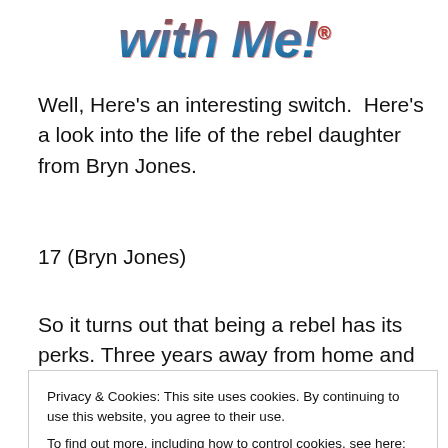[Figure (logo): Stylized logo text reading 'with Me!' in bold italic multicolor (red/blue gradient) font with a registered trademark symbol]
Well, Here's an interesting switch.  Here's a look into the life of the rebel daughter from Bryn Jones.
17 (Bryn Jones)
So it turns out that being a rebel has its perks. Three years away from home and Sian's life was completely different. The Establishment had developed an almost
Privacy & Cookies: This site uses cookies. By continuing to use this website, you agree to their use.
To find out more, including how to control cookies, see here: Cookie Policy
position where they have power over the